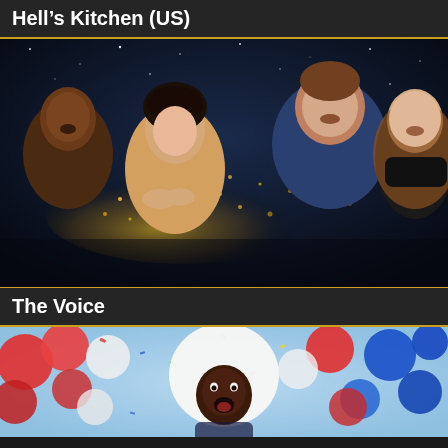Hell's Kitchen (US)
[Figure (photo): Promotional photo for Hell's Kitchen (US) showing four judges: John Legend on the left, Ariana Grande in the center blowing gold glitter, Blake Shelton upper right, Kelly Clarkson far right — dark starry background with gold sparkles]
The Voice
[Figure (photo): Promotional photo for The Voice showing RuPaul in center with a large white afro and open mouth expression, surrounded by red, white, and blue balloons on a light blue background with confetti]